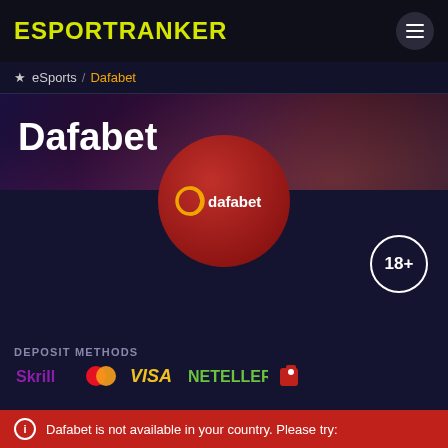ESPORTRANKER
eSports / Dafabet
Dafabet
[Figure (logo): Dafabet brand logo on dark red circular background with dafabet text, and 18+ age badge on right side]
DEPOSIT METHODS
Skrill MasterCard VISA NETELLER paysafecard
Dafabet is not available in your country. Please try: